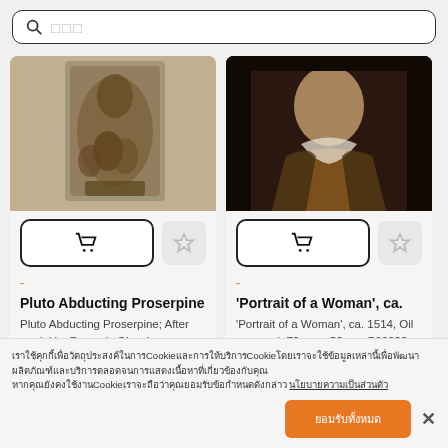검색창 (search bar with placeholder squares)
[Figure (photo): Bronze sculpture of Pluto Abducting Proserpine, dark bronze figures on a base]
[Figure (photo): Portrait of a Woman painting, ca. 1514, dark background with woman in Renaissance dress]
-
-
Pluto Abducting Proserpine
Pluto Abducting Proserpine; After model by François Girardon, French, 1628 - 1715; Paris, Franc...
'Portrait of a Woman', ca.
'Portrait of a Woman', ca. 1514, Oil on panel, 73 cm x 56 cm, P00332. Author: ANDREA DEL SARTO....
คุกกี้ Cookie Cookie ... (cookie consent banner text with underlined link)